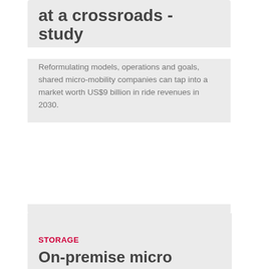at a crossroads - study
Reformulating models, operations and goals, shared micro-mobility companies can tap into a market worth US$9 billion in ride revenues in 2030.
[Figure (photo): A server rack / data centre unit against a dark background with pink circular light streaks]
STORAGE
On-premise micro data centres an emerging option